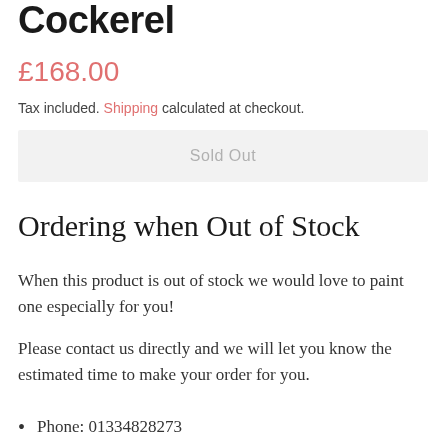Cockerel
£168.00
Tax included. Shipping calculated at checkout.
Sold Out
Ordering when Out of Stock
When this product is out of stock we would love to paint one especially for you!
Please contact us directly and we will let you know the estimated time to make your order for you.
Phone: 01334828273